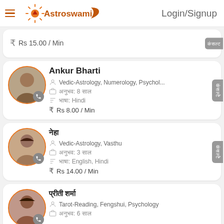Astroswami | Login/Signup
Rs 15.00 / Min
Ankur Bharti
Vedic-Astrology, Numerology, Psychol...
अनुभव: 8 साल
भाषा: Hindi
Rs 8.00 / Min
नेहा
Vedic-Astrology, Vasthu
अनुभव: 3 साल
भाषा: English, Hindi
Rs 14.00 / Min
प्रीति शर्मा
Tarot-Reading, Fengshui, Psychology
अनुभव: 6 साल